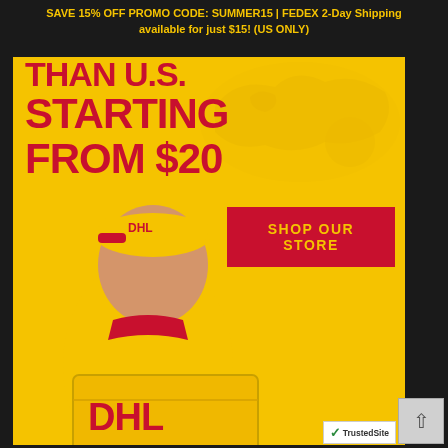SAVE 15% OFF PROMO CODE: SUMMER15 | FEDEX 2-Day Shipping available for just $15! (US ONLY)
[Figure (photo): DHL delivery man in yellow and red uniform holding a DHL Express package box, standing against a yellow background with a faint world map. Red bold text reads 'STARTING FROM $20'. A red button reads 'SHOP OUR STORE'.]
STARTING FROM $20
SHOP OUR STORE
[Figure (logo): TrustedSite badge with green checkmark in bottom right corner]